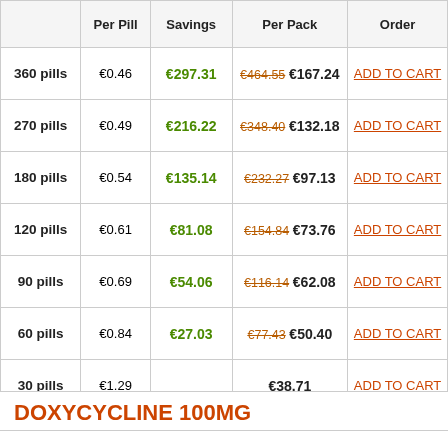|  | Per Pill | Savings | Per Pack | Order |
| --- | --- | --- | --- | --- |
| 360 pills | €0.46 | €297.31 | €464.55 €167.24 | ADD TO CART |
| 270 pills | €0.49 | €216.22 | €348.40 €132.18 | ADD TO CART |
| 180 pills | €0.54 | €135.14 | €232.27 €97.13 | ADD TO CART |
| 120 pills | €0.61 | €81.08 | €154.84 €73.76 | ADD TO CART |
| 90 pills | €0.69 | €54.06 | €116.14 €62.08 | ADD TO CART |
| 60 pills | €0.84 | €27.03 | €77.43 €50.40 | ADD TO CART |
| 30 pills | €1.29 |  | €38.71 | ADD TO CART |
DOXYCYCLINE 100MG